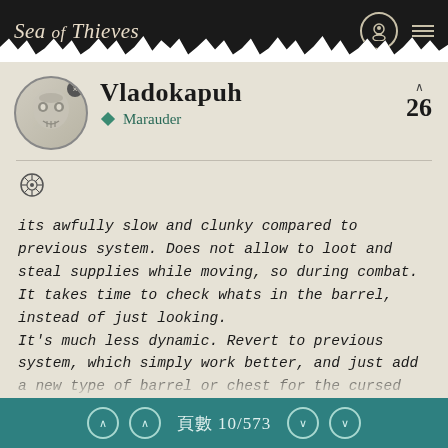Sea of Thieves
Vladokapuh
Marauder
26
its awfully slow and clunky compared to previous system. Does not allow to loot and steal supplies while moving, so during combat.
It takes time to check whats in the barrel, instead of just looking.
It's much less dynamic. Revert to previous system, which simply work better, and just add a new type of barrel or chest for the cursed cannonballs, with this type of inventory.
頁數 10/573